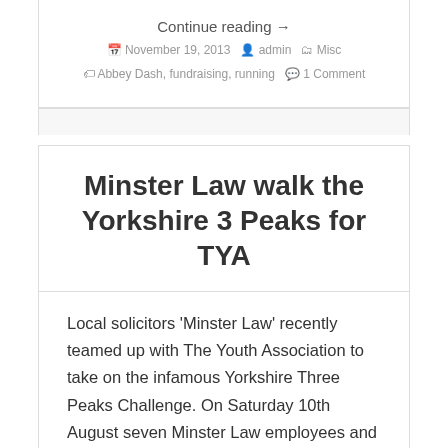Continue reading →
November 19, 2013  admin  Misc  Abbey Dash, fundraising, running  1 Comment
Minster Law walk the Yorkshire 3 Peaks for TYA
Local solicitors 'Minster Law' recently teamed up with The Youth Association to take on the infamous Yorkshire Three Peaks Challenge. On Saturday 10th August seven Minster Law employees and a youth worker completed  the challenge in 11 hours and 20 minutes and raised a total of